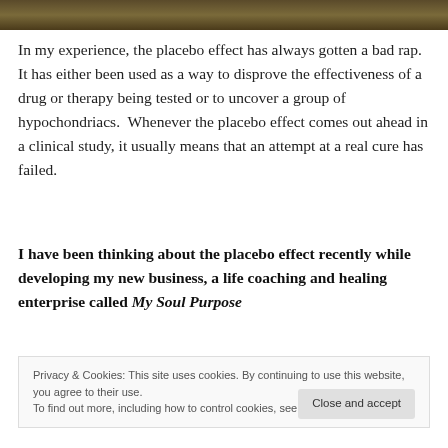[Figure (photo): Photograph strip showing outdoor nature scene with dark earthy tones]
In my experience, the placebo effect has always gotten a bad rap. It has either been used as a way to disprove the effectiveness of a drug or therapy being tested or to uncover a group of hypochondriacs.  Whenever the placebo effect comes out ahead in a clinical study, it usually means that an attempt at a real cure has failed.
I have been thinking about the placebo effect recently while developing my new business, a life coaching and healing enterprise called My Soul Purpose
Privacy & Cookies: This site uses cookies. By continuing to use this website, you agree to their use.
To find out more, including how to control cookies, see here: Cookie Policy
Close and accept